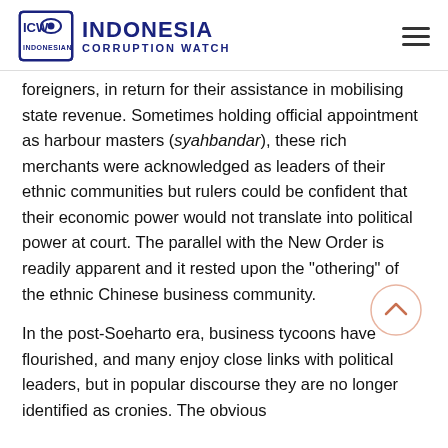INDONESIA CORRUPTION WATCH
foreigners, in return for their assistance in mobilising state revenue. Sometimes holding official appointment as harbour masters (syahbandar), these rich merchants were acknowledged as leaders of their ethnic communities but rulers could be confident that their economic power would not translate into political power at court. The parallel with the New Order is readily apparent and it rested upon the "othering" of the ethnic Chinese business community.
In the post-Soeharto era, business tycoons have flourished, and many enjoy close links with political leaders, but in popular discourse they are no longer identified as cronies. The obvious